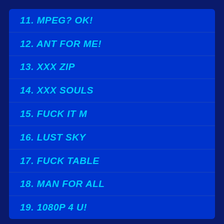11. MPEG? OK!
12. ANT FOR ME!
13. XXX ZIP
14. XXX SOULS
15. FUCK IT M
16. LUST SKY
17. FUCK TABLE
18. MAN FOR ALL
19. 1080P 4 U!